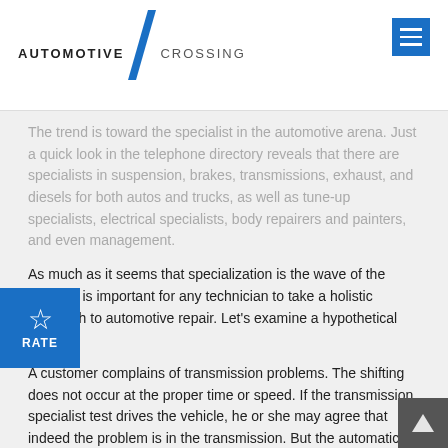AUTOMOTIVE CROSSING
The trend is toward the specialist in the automotive arena. Just a quick look in the telephone directory reveals that there are specialists in suspension, brakes, transmissions, exhaust, and diesels for both autos and trucks, as well as tune-up specialists, electrical specialists, body repairers and painters, and even management.
As much as it seems that specialization is the wave of the future, it is important for any technician to take a holistic approach to automotive repair. Let's examine a hypothetical case.
A customer complains of transmission problems. The shifting does not occur at the proper time or speed. If the transmission specialist test drives the vehicle, he or she may agree that indeed the problem is in the transmission. But the automatic transmission often relies on engine vacuum and throttle pressure or even computers, to determine the correct shift point. So if the transmission expert is unaware of the function of the engine, the problem may be incorrectly diagnosed as strictly transmission related. The actual reason may be a vacuum related problem. A leak in the engine's intake manifold will result in insufficient vacuum for the transmission modulator to function. A transmission